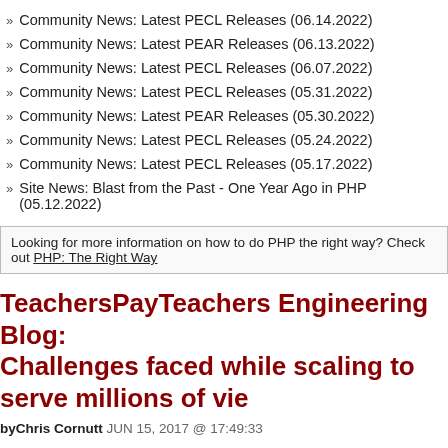Community News: Latest PECL Releases (06.14.2022)
Community News: Latest PEAR Releases (06.13.2022)
Community News: Latest PECL Releases (06.07.2022)
Community News: Latest PECL Releases (05.31.2022)
Community News: Latest PEAR Releases (05.30.2022)
Community News: Latest PECL Releases (05.24.2022)
Community News: Latest PECL Releases (05.17.2022)
Site News: Blast from the Past - One Year Ago in PHP (05.12.2022)
Looking for more information on how to do PHP the right way? Check out PHP: The Right Way
TeachersPayTeachers Engineering Blog: Challenges faced while scaling to serve millions of vie
byChris Cornutt JUN 15, 2017 @ 17:49:33
On the TeachersPayTeachers.com Engineering blog they've posted a retrospective of wha scale to millions of views per day on AWS using Kubernetes, React, PHP, and Elixir.
Here at Teachers Pay Teachers (or TpT, as we call it) we've been in the process website from a PHP monolith to a microservice based architecture utilizing Rea GraphQL. To date, this migration has delighted our community of educators wit improvements. We're able to objectively measure these improvements with our